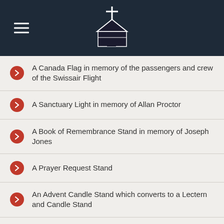Church website header with hamburger menu and church logo
A Canada Flag in memory of the passengers and crew of the Swissair Flight
A Sanctuary Light in memory of Allan Proctor
A Book of Remembrance Stand in memory of Joseph Jones
A Prayer Request Stand
An Advent Candle Stand which converts to a Lectern and Candle Stand
New Missals
New Book of Gospels